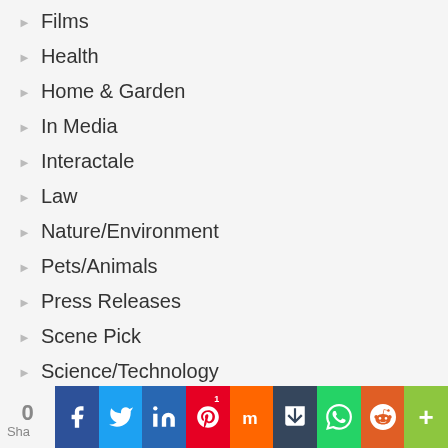Films
Health
Home & Garden
In Media
Interactale
Law
Nature/Environment
Pets/Animals
Press Releases
Scene Pick
Science/Technology
Society and Culture
0 Shares | Social share bar with Facebook, Twitter, LinkedIn, Pinterest, Mix, Tumblr, WhatsApp, Reddit, More